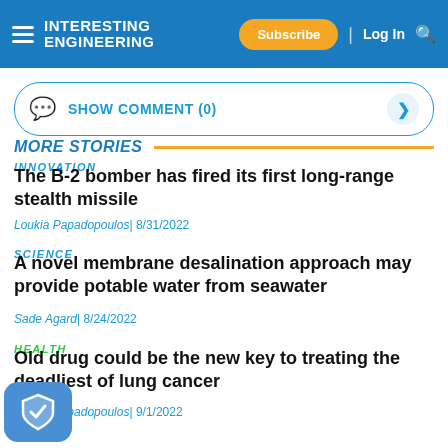Interesting Engineering — Subscribe | Log In
SHOW COMMENT (0)
MORE STORIES
INNOVATION
The B-2 bomber has fired its first long-range stealth missile
Loukia Papadopoulos| 8/31/2022
SCIENCE
A novel membrane desalination approach may provide potable water from seawater
Sade Agard| 8/24/2022
HEALTH
Old drug could be the new key to treating the deadliest of lung cancer
Loukia Papadopoulos| 9/1/2022